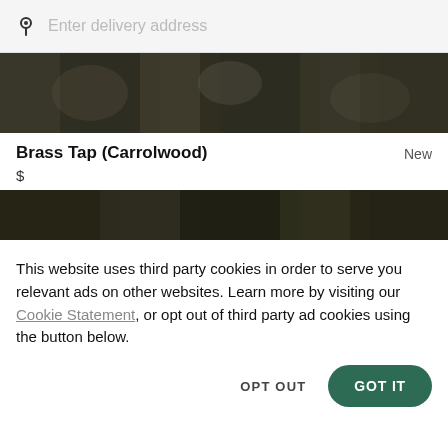Enter delivery address
[Figure (photo): Top food banner image showing trays of food with dark overlay]
Brass Tap (Carrolwood)
$
New
[Figure (photo): Bottom food banner image showing Asian noodle dishes with dark overlay]
This website uses third party cookies in order to serve you relevant ads on other websites. Learn more by visiting our Cookie Statement, or opt out of third party ad cookies using the button below.
OPT OUT
GOT IT